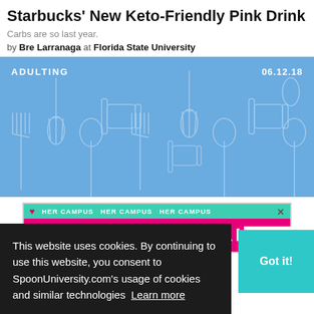Starbucks' New Keto-Friendly Pink Drink
Carbs are so last year.
by Bre Larranaga at Florida State University
[Figure (illustration): Blue illustrated banner with kitchen utensils (whisks, forks, spoons, rolling pins). Text: ADULTING on left, 06.12.18 on right.]
[Figure (infographic): Her Campus ad banner: teal top bar with 'HER CAMPUS' repeated, pink bottom with 'BECOME A LEADER IN EDITORIAL']
This website uses cookies. By continuing to use this website, you consent to SpoonUniversity.com's usage of cookies and similar technologies Learn more
Got it!
he Scam
ealth.